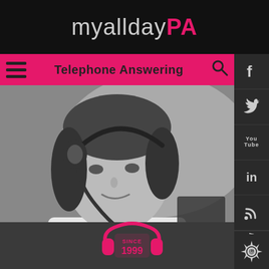myalldayPA
Telephone Answering
[Figure (photo): Black and white photo of a young woman wearing a telephone headset, speaking, seated at a desk — a telephone answering service operator.]
[Figure (logo): myalldayPA headset logo with 'SINCE 1999' text inside pink/red headphones graphic]